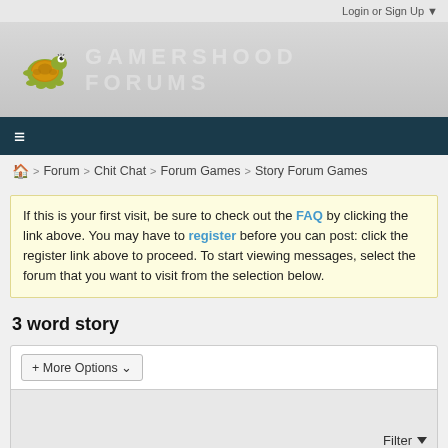Login or Sign Up ▼
[Figure (logo): Gamershood Forums logo with turtle mascot and embossed text GAMERSHOOD FORUMS]
≡ (hamburger menu)
🏠 > Forum > Chit Chat > Forum Games > Story Forum Games
If this is your first visit, be sure to check out the FAQ by clicking the link above. You may have to register before you can post: click the register link above to proceed. To start viewing messages, select the forum that you want to visit from the selection below.
3 word story
+ More Options ▾
Filter ▼